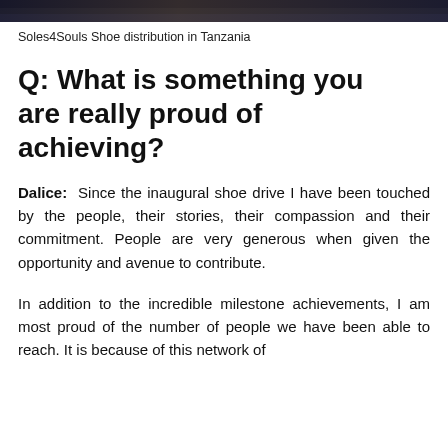[Figure (photo): Dark banner image, likely a photograph related to Soles4Souls shoe distribution in Tanzania]
Soles4Souls Shoe distribution in Tanzania
Q: What is something you are really proud of achieving?
Dalice: Since the inaugural shoe drive I have been touched by the people, their stories, their compassion and their commitment. People are very generous when given the opportunity and avenue to contribute.
In addition to the incredible milestone achievements, I am most proud of the number of people we have been able to reach. It is because of this network of